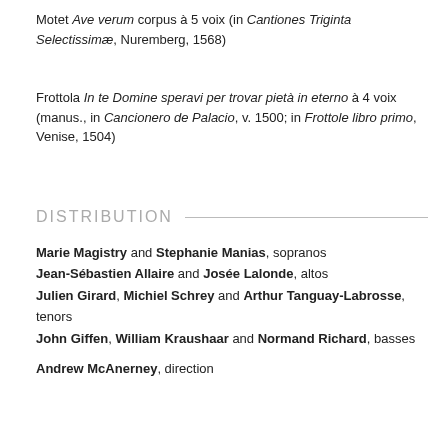Motet Ave verum corpus à 5 voix (in Cantiones Triginta Selectissimæ, Nuremberg, 1568)
Frottola In te Domine speravi per trovar pietà in eterno à 4 voix (manus., in Cancionero de Palacio, v. 1500; in Frottole libro primo, Venise, 1504)
DISTRIBUTION
Marie Magistry and Stephanie Manias, sopranos
Jean-Sébastien Allaire and Josée Lalonde, altos
Julien Girard, Michiel Schrey and Arthur Tanguay-Labrosse, tenors
John Giffen, William Kraushaar and Normand Richard, basses
Andrew McAnerney, direction